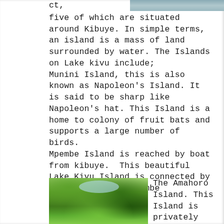[Figure (photo): Partial view of a water body (lake), appearing at the top right of the page]
ct,
five of which are situated around Kibuye. In simple terms, an island is a mass of land surrounded by water. The Islands on Lake kivu include;
Munini Island, this is also known as Napoleon's Island. It is said to be sharp like Napoleon's hat. This Island is a home to colony of fruit bats and supports a large number of birds.
Mpembe Island is reached by boat from kibuye.  This beautiful Lake Kivu Island is connected by a bridge to the Mpembe peninsula.
[Figure (photo): Photograph of trees with green foliage and a patch of sky visible through the leaves, taken from below]
The Amahoro Island. This Island is privately owed